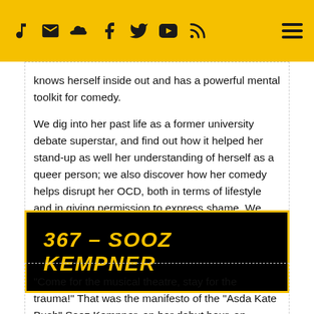Navigation bar with icons: music note, email, SoundCloud, Facebook, Twitter, YouTube, RSS, and hamburger menu
knows herself inside out and has a powerful mental toolkit for comedy.
We dig into her past life as a former university debate superstar, and find out how it helped her stand-up as well her understanding of herself as a queer person; we also discover how her comedy helps disrupt her OCD, both in terms of lifestyle and in giving permission to express shame.  We also consider why income can be a useful metric for success, and why she won't wear jeans…
367 – SOOZ KEMPNER
“Come for the musical theatre, stay for the trauma!”  That was the manifesto of the “Asda Kate Bush” Sooz Kempner, on her debut hour, an extraordinary verbatim performance of the real email her father sent to her mother, that led to divorce.   We talk